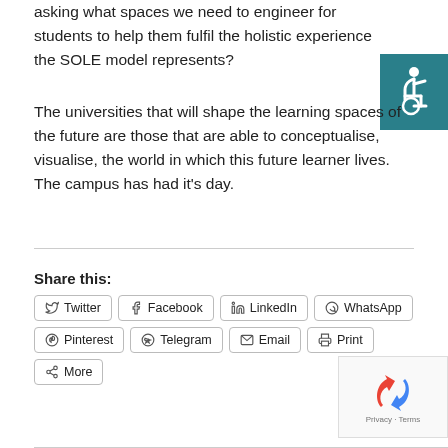asking what spaces we need to engineer for students to help them fulfil the holistic experience the SOLE model represents?
[Figure (illustration): Accessibility icon — white wheelchair symbol on teal/dark-cyan background]
The universities that will shape the learning spaces of the future are those that are able to conceptualise, visualise, the world in which this future learner lives. The campus has had it’s day.
Share this:
Twitter
Facebook
LinkedIn
WhatsApp
Pinterest
Telegram
Email
Print
More